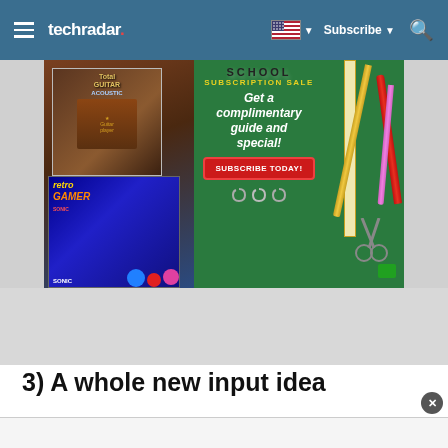techradar
[Figure (illustration): Advertisement banner for a magazine subscription sale on a green chalkboard background. Shows magazine covers (guitar/acoustic and Retro Gamer featuring Sonic) on the left, school stationery items (pencils, ruler, scissors) on the right, with yellow text 'SCHOOL SUBSCRIPTION SALE', white italic text 'Get a complimentary guide and special!', and a red button reading 'SUBSCRIBE TODAY!']
3) A whole new input idea